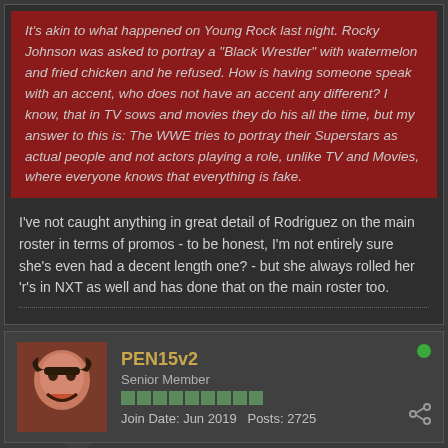It's akin to what happened on Young Rock last night. Rocky Johnson was asked to portray a "Black Wrestler" with watermelon and fried chicken and he refused. How is having someone speak with an accent, who does not have an accent any different? I know, that in TV sows and movies they do his all the time, but my answer to this is: The WWE tries to portray their Superstars as actual people and not actors playing a role, unlike TV and Movies, where everyone knows that everything is fake.
I've not caught anything in great detail of Rodriguez on the main roster in terms of promos - to be honest, I'm not entirely sure she's even had a decent length one? - but she always rolled her 'r's in NXT as well and has done that on the main roster too.
PEN15v2
Senior Member
Join Date: Jun 2019   Posts: 2725
05-19-2022, 01:10 AM
#1075
I think the problem is that her switch into Spanish isn't authentic. It's sounds very scripted and planned. Eddie had that too, but made it feel